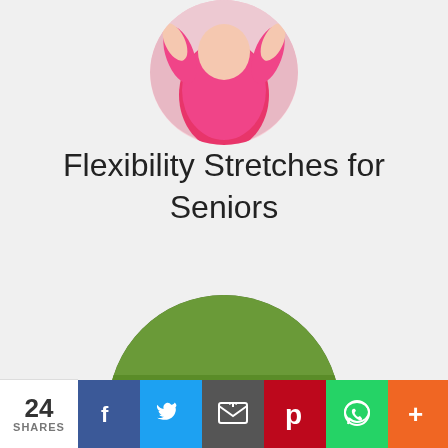[Figure (photo): Circular cropped photo of a senior person in pink top, arms raised, exercising outdoors — partially visible at top]
Flexibility Stretches for Seniors
[Figure (photo): Circular cropped photo of a smiling senior woman in light blue top stretching on a blue mat on green grass]
24 SHARES
[Figure (infographic): Social share bar with Facebook, Twitter, Email, Pinterest, WhatsApp, and More buttons]